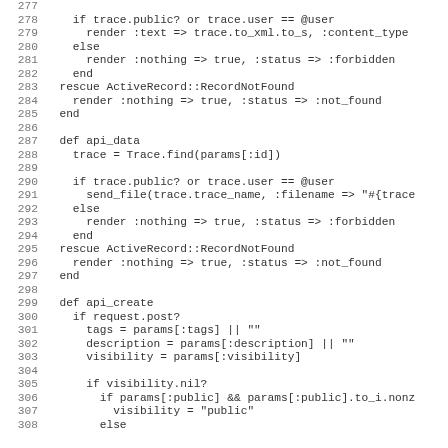Code listing lines 277-308 showing Ruby on Rails controller code with api_data and api_create methods